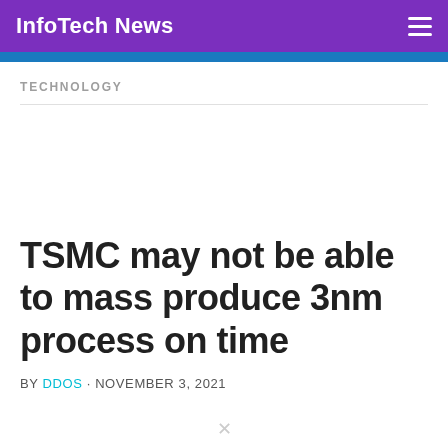InfoTech News
TECHNOLOGY
TSMC may not be able to mass produce 3nm process on time
BY DDOS · NOVEMBER 3, 2021